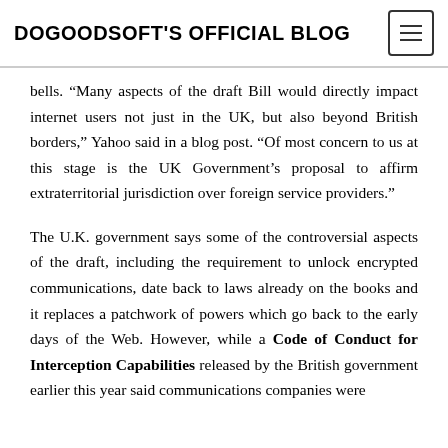DOGOODSOFT'S OFFICIAL BLOG
bells. “Many aspects of the draft Bill would directly impact internet users not just in the UK, but also beyond British borders,” Yahoo said in a blog post. “Of most concern to us at this stage is the UK Government’s proposal to affirm extraterritorial jurisdiction over foreign service providers.”
The U.K. government says some of the controversial aspects of the draft, including the requirement to unlock encrypted communications, date back to laws already on the books and it replaces a patchwork of powers which go back to the early days of the Web. However, while a Code of Conduct for Interception Capabilities released by the British government earlier this year said communications companies were